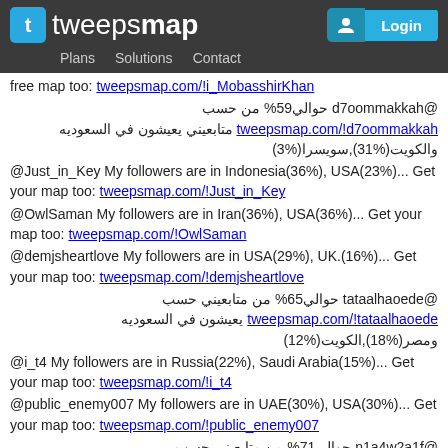tweepsmap | Plans | Solutions | Contact | Login
free map too: tweepsmap.com/!i_MobasshirKhan
@d7oommakkah حوالي59% من حسب tweepsmap.com/!d7oommakkah متابعيني يعيشون في السعوديه والكويت(%31),سويسرا(%3)
@Just_in_Key My followers are in Indonesia(36%), USA(23%)... Get your map too: tweepsmap.com/!Just_in_Key
@OwlSaman My followers are in Iran(36%), USA(36%)... Get your map too: tweepsmap.com/!OwlSaman
@demjsheartlove My followers are in USA(29%), UK.(16%)... Get your map too: tweepsmap.com/!demjsheartlove
@tataalhaoede حوالي65% من متابعيني حسب tweepsmap.com/!tataalhaoede يعيشون في السعوديه ومصر(%18),الكويت(%12)
@i_t4 My followers are in Russia(22%), Saudi Arabia(15%)... Get your map too: tweepsmap.com/!i_t4
@public_enemy007 My followers are in UAE(30%), USA(30%)... Get your map too: tweepsmap.com/!public_enemy007
@n1a4w2a1f حوالي71% من متابعيني حسب tweepsmap.com/!n1a4w2a1f يعيشون في السعوديه والكويت(%6),اسبانيا(%4)
@myosots_SC2 My followers are in Japan(81%), Australia(7%)... Get your map too: tweepsmap.com/!myosots_SC2
@Sttephy My followers live in USA (43%), Russia(22%)... Get your free map too: tweepsmap.com/!Sttephy
@lokeshkadela My followers live in 18 countries: India(56%), USA(23%)